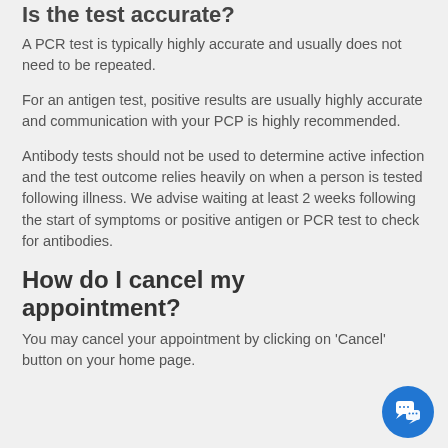Is the test accurate?
A PCR test is typically highly accurate and usually does not need to be repeated.
For an antigen test, positive results are usually highly accurate and communication with your PCP is highly recommended.
Antibody tests should not be used to determine active infection and the test outcome relies heavily on when a person is tested following illness. We advise waiting at least 2 weeks following the start of symptoms or positive antigen or PCR test to check for antibodies.
How do I cancel my appointment?
You may cancel your appointment by clicking on 'Cancel' button on your home page.